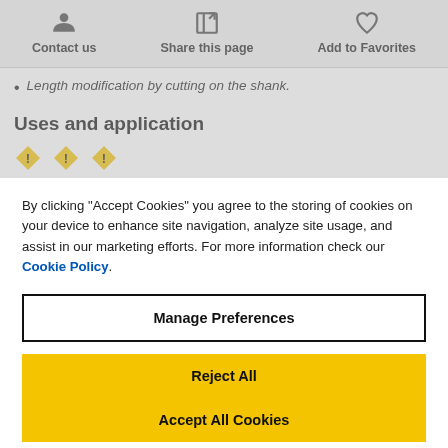Contact us | Share this page | Add to Favorites
Length modification by cutting off the shank.
Uses and application
[Figure (illustration): Three yellow diamond/warning icons partially visible]
By clicking "Accept Cookies" you agree to the storing of cookies on your device to enhance site navigation, analyze site usage, and assist in our marketing efforts. For more information check our Cookie Policy.
Manage Preferences
Reject All
Accept All Cookies